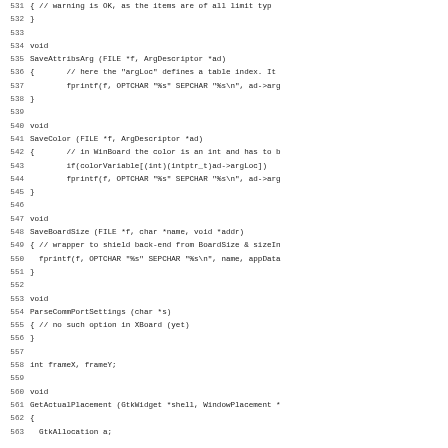[Figure (screenshot): Source code listing showing C functions: SaveAttribsArg, SaveColor, SaveBoardSize, ParseCommPortSettings, and beginning of GetActualPlacement. Line numbers 531-563 visible. Monospace font on white background.]